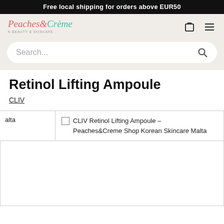Free local shipping for orders above EUR50
[Figure (logo): Peaches & Crème K-Beauty & Skincare logo in cursive pink and teal text]
Retinol Lifting Ampoule
CLIV
CLIV Retinol Lifting Ampoule – Peaches&Creme Shop Korean Skincare Malta
alta